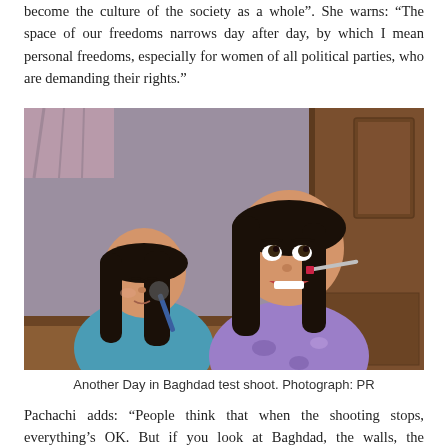become the culture of the society as a whole". She warns: “The space of our freedoms narrows day after day, by which I mean personal freedoms, especially for women of all political parties, who are demanding their rights.”
[Figure (photo): Two young girls playing with makeup. One on the left applies blush with a brush, the other on the right applies red lipstick with a brush and smiles. Both have dark hair. Background shows wooden furniture and a purple wall.]
Another Day in Baghdad test shoot. Photograph: PR
Pachachi adds: “People think that when the shooting stops, everything’s OK. But if you look at Baghdad, the walls, the pavements,